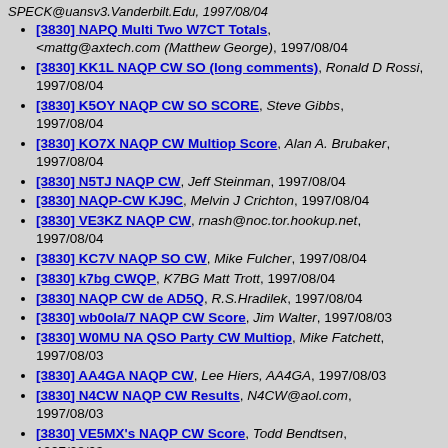SPECK@uansv3.Vanderbilt.Edu, 1997/08/04
[3830] NAPQ Multi Two W7CT Totals, <mattg@axtech.com (Matthew George), 1997/08/04
[3830] KK1L NAQP CW SO (long comments), Ronald D Rossi, 1997/08/04
[3830] K5OY NAQP CW SO SCORE, Steve Gibbs, 1997/08/04
[3830] KO7X NAQP CW Multiop Score, Alan A. Brubaker, 1997/08/04
[3830] N5TJ NAQP CW, Jeff Steinman, 1997/08/04
[3830] NAQP-CW KJ9C, Melvin J Crichton, 1997/08/04
[3830] VE3KZ NAQP CW, rnash@noc.tor.hookup.net, 1997/08/04
[3830] KC7V NAQP SO CW, Mike Fulcher, 1997/08/04
[3830] k7bg CWQP, K7BG Matt Trott, 1997/08/04
[3830] NAQP CW de AD5Q, R.S.Hradilek, 1997/08/04
[3830] wb0ola/7 NAQP CW Score, Jim Walter, 1997/08/03
[3830] W0MU NA QSO Party CW Multiop, Mike Fatchett, 1997/08/03
[3830] AA4GA NAQP CW, Lee Hiers, AA4GA, 1997/08/03
[3830] N4CW NAQP CW Results, N4CW@aol.com, 1997/08/03
[3830] VE5MX's NAQP CW Score, Todd Bendtsen, 1997/08/03
[3830] K8MR NAQP CW, Jim Stahl, 1997/08/03
[3830] W4PA - NA QSO CW, Scott Robbins, 1997/08/03